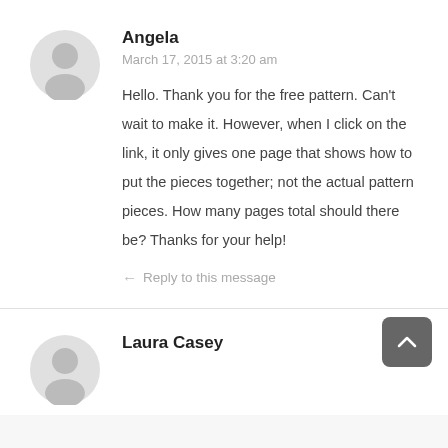[Figure (illustration): Gray circular avatar icon with silhouette of a person, for user Angela]
Angela
March 17, 2015 at 3:20 am
Hello. Thank you for the free pattern. Can't wait to make it. However, when I click on the link, it only gives one page that shows how to put the pieces together; not the actual pattern pieces. How many pages total should there be? Thanks for your help!
← Reply to this message
[Figure (illustration): Gray circular avatar icon with silhouette of a person, for user Laura Casey]
Laura Casey